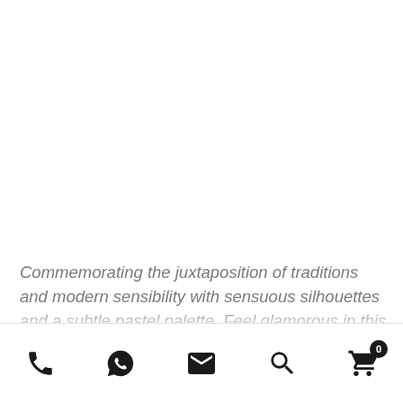Commemorating the juxtaposition of traditions and modern sensibility with sensuous silhouettes and a subtle pastel palette. Feel glamorous in this stylish blouse paired up with rodeo dust lehengha.
[phone icon] [whatsapp icon] [email icon] [search icon] [cart icon with badge 0]